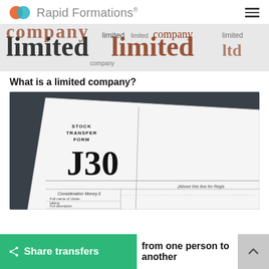Rapid Formations®
[Figure (illustration): Word cloud banner with repeated words: company, limited, Ltd in various fonts and colors including black and brown/red tones]
What is a limited company?
[Figure (photo): Close-up photograph of a Stock Transfer Form J30 document with fields for Consideration Money, Full name of Undertaking, Full description of Security, Number or amount of Shares]
Share transfers from one person to another